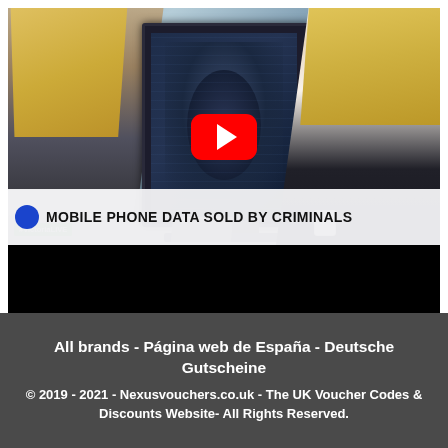[Figure (screenshot): YouTube video thumbnail of a TV news broadcast showing two women at a desk with a monitor displaying a hacker image. Lower third reads '#VictoriaLIVE' and 'MOBILE PHONE DATA SOLD BY CRIMINALS'. A red YouTube play button overlay is centered on the image.]
All brands - Página web de España - Deutsche Gutscheine
© 2019 - 2021 - Nexusvouchers.co.uk - The UK Voucher Codes & Discounts Website- All Rights Reserved.